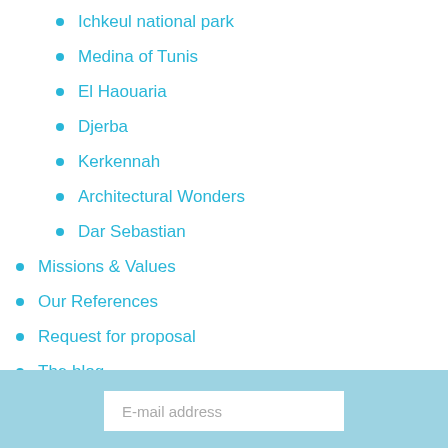Ichkeul national park
Medina of Tunis
El Haouaria
Djerba
Kerkennah
Architectural Wonders
Dar Sebastian
Missions & Values
Our References
Request for proposal
The blog
Dar Sebastian
E-mail address